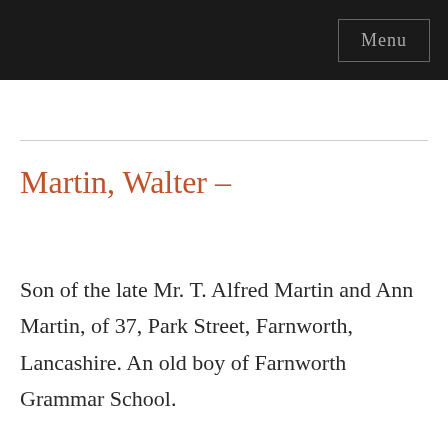Menu
Martin, Walter –
Son of the late Mr. T. Alfred Martin and Ann Martin, of 37, Park Street, Farnworth, Lancashire. An old boy of Farnworth Grammar School.